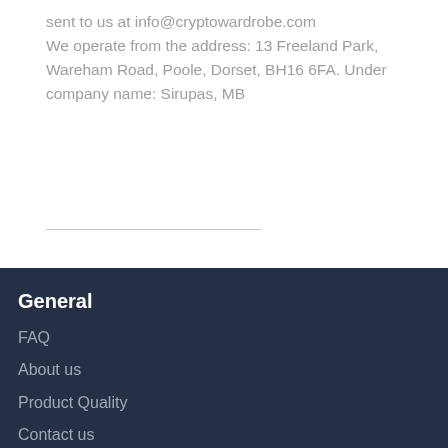sent to us at info@cryptowardrobe.com We operate from the address: 13 Freeland Park, Wareham Road, Poole, Dorset, BH16 6FA. Under company name: Sirupas, MB
General
FAQ
About us
Product Quality
Contact us